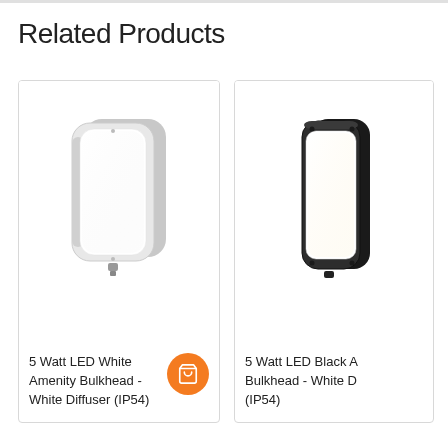Related Products
[Figure (photo): White rectangular LED bulkhead wall light with white diffuser panel, angled view showing depth of housing]
5 Watt LED White Amenity Bulkhead - White Diffuser (IP54)
[Figure (photo): Black rectangular LED bulkhead wall light with white diffuser panel, partially cropped on right side of page]